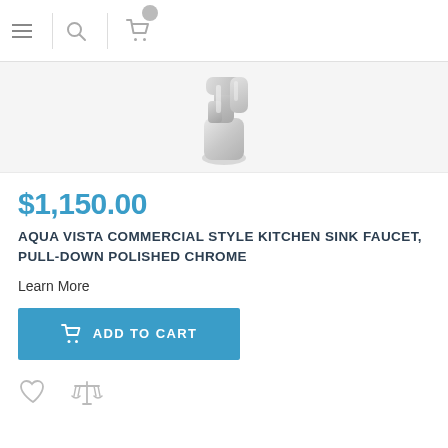Navigation header with hamburger menu, search icon, and cart icon
[Figure (photo): Chrome kitchen faucet product photo on white/light grey background]
$1,150.00
AQUA VISTA COMMERCIAL STYLE KITCHEN SINK FAUCET, PULL-DOWN POLISHED CHROME
Learn More
ADD TO CART
[Figure (illustration): Heart icon (wishlist) and balance/compare scales icon]